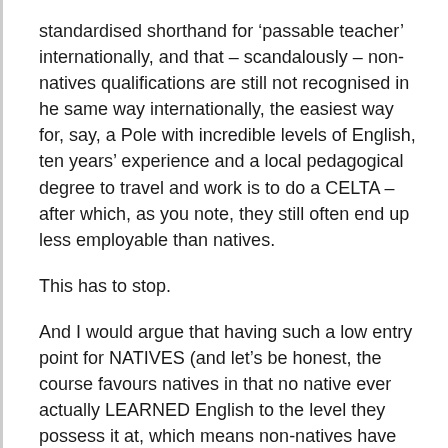standardised shorthand for ‘passable teacher’ internationally, and that – scandalously – non-natives qualifications are still not recognised in he same way internationally, the easiest way for, say, a Pole with incredible levels of English, ten years’ experience and a local pedagogical degree to travel and work is to do a CELTA – after which, as you note, they still often end up less employable than natives.
This has to stop.
And I would argue that having such a low entry point for NATIVES (and let’s be honest, the course favours natives in that no native ever actually LEARNED English to the level they possess it at, which means non-natives have already worked much harder just to be at the same starting blocks) to start teaching is a slap in the face to our non-native colleagues out there.